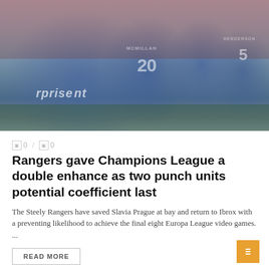[Figure (photo): Football players in blue jerseys celebrating on a pitch, one wearing number 20 (McMillan) and another wearing number 5 (Henderson), with red stadium stands in background and advertising boards visible]
0 / 0
Rangers gave Champions League a double enhance as two punch units potential coefficient last
The Steely Rangers have saved Slavia Prague at bay and return to Ibrox with a preventing likelihood to achieve the final eight Europa League video games. ...
READ MORE